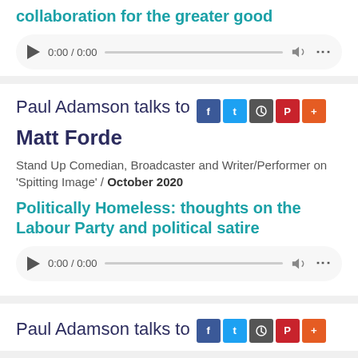collaboration for the greater good
[Figure (other): Audio player showing 0:00 / 0:00 with play button, progress bar, volume and options icons]
Paul Adamson talks to Matt Forde
Stand Up Comedian, Broadcaster and Writer/Performer on 'Spitting Image' / October 2020
Politically Homeless: thoughts on the Labour Party and political satire
[Figure (other): Audio player showing 0:00 / 0:00 with play button, progress bar, volume and options icons]
Paul Adamson talks to